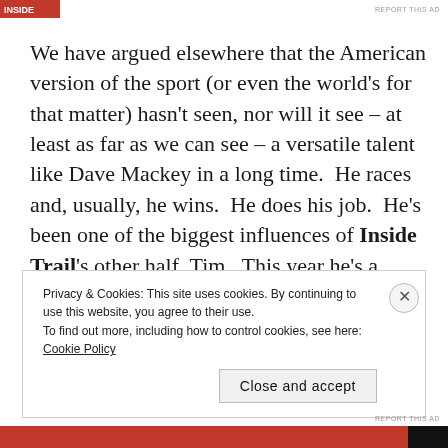[Figure (logo): Red logo/banner in top-left corner]
REPORT THIS AD
We have argued elsewhere that the American version of the sport (or even the world's for that matter) hasn't seen, nor will it see – at least as far as we can see – a versatile talent like Dave Mackey in a long time.  He races and, usually, he wins.  He does his job.  He's been one of the biggest influences of Inside Trail's other half, Tim.  This year he's a leading candidate for UROY.  This is a
Privacy & Cookies: This site uses cookies. By continuing to use this website, you agree to their use.
To find out more, including how to control cookies, see here: Cookie Policy
Close and accept